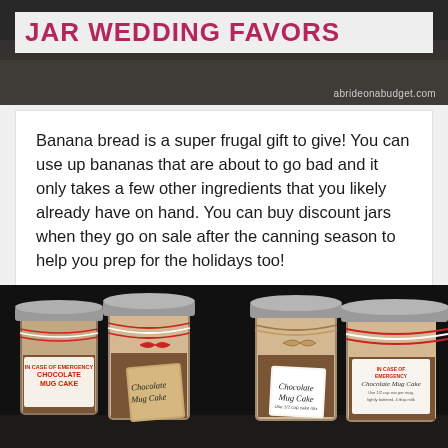[Figure (photo): Top banner image showing mason jar wedding favors with dark background and title text overlay. Text reads 'JAR WEDDING FAVORS' in bold magenta/pink uppercase letters on white background. Watermark 'abrideonabudget.com' in bottom right corner.]
Banana bread is a super frugal gift to give! You can use up bananas that are about to go bad and it only takes a few other ingredients that you likely already have on hand. You can buy discount jars when they go on sale after the canning season to help you prep for the holidays too!
[Figure (photo): Photo of four mason jars filled with chocolate mug cake mix on a dark background. Jars have silver metal lids and are decorated with red and white baker's twine and kraft paper gift tags. Tags are labeled 'Chocolate Mug Cake' in cursive script. Some jars show 'IN CASE OF EMERGENCY CHOCOLATE MUG CAKE' printed labels.]